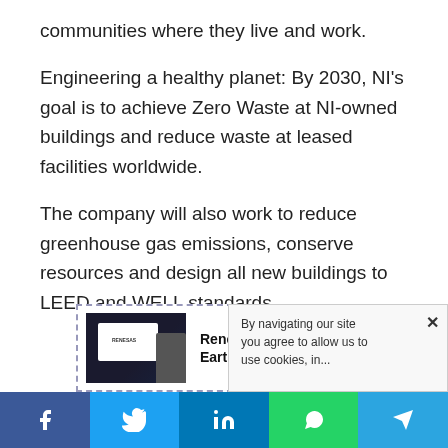communities where they live and work.
Engineering a healthy planet: By 2030, NI's goal is to achieve Zero Waste at NI-owned buildings and reduce waste at leased facilities worldwide.
The company will also work to reduce greenhouse gas emissions, conserve resources and design all new buildings to LEED and WELL standards.
[Figure (other): Related article preview: Renesas' Operation Halted Earthquake Hits in Japan, with thumbnail image of a presentation screen]
By navigating our site you agree to allow us to use cookies, in...
[Figure (other): Social share bar with Facebook, Twitter, LinkedIn, WhatsApp, and Telegram buttons]